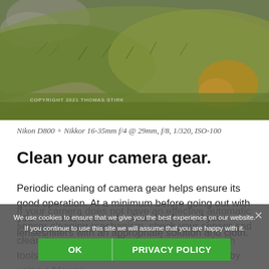[Figure (photo): Landscape photograph of grassy hillside with rocks and tussock grasses, green and golden tones. Copyright 2021 Thomas Stirk.]
Nikon D800 + Nikkor 16-35mm f/4 @ 29mm, f/8, 1/320, ISO-100
Clean your camera gear.
Periodic cleaning of camera gear helps ensure its good operation. At a minimum before going out with your camera, be sure to clean the front of your lenses/filters with an appropriate solution and cloth.
If your camera does not have an effective automatic sensor cleaning mechanism, check your sensor and clean it as necessary. Dust can be removed with tools such as the Eyelead Sensor Gel Stick, or by using a blower.
We use cookies to ensure that we give you the best experience on our website. If you continue to use this site we will assume that you are happy with it.